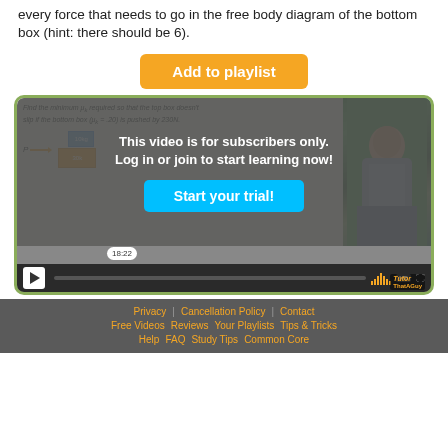every force that needs to go in the free body diagram of the bottom box (hint: there should be 6).
Add to playlist
[Figure (screenshot): Video player showing a physics problem about finding minimum μk so the top box doesn't slip when the bottom box is pushed by 230N. Overlaid with a subscriber-only message: 'This video is for subscribers only. Log in or join to start learning now!' and a 'Start your trial!' button. Duration 18:22. Shows a tutor in the corner thumbnail.]
Privacy | Cancellation Policy | Contact  Free Videos  Reviews  Your Playlists  Tips & Tricks  Help  FAQ  Study Tips  Common Core